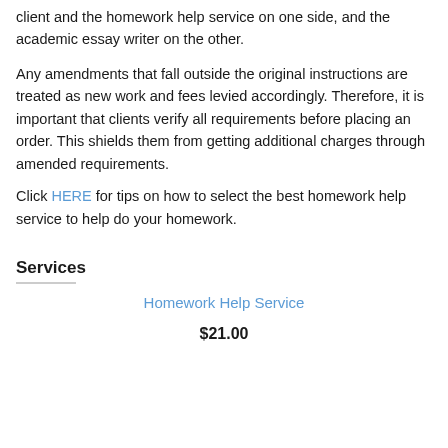client and the homework help service on one side, and the academic essay writer on the other.
Any amendments that fall outside the original instructions are treated as new work and fees levied accordingly. Therefore, it is important that clients verify all requirements before placing an order. This shields them from getting additional charges through amended requirements.
Click HERE for tips on how to select the best homework help service to help do your homework.
Services
Homework Help Service
$21.00